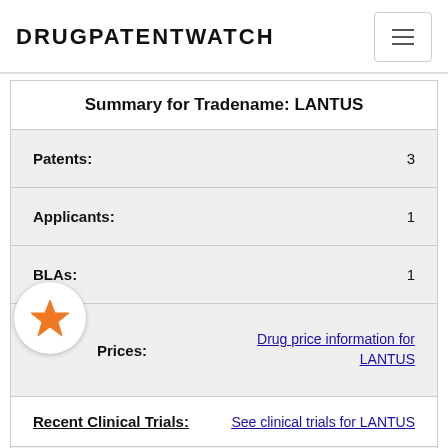DRUGPATENTWATCH
Summary for Tradename: LANTUS
| Field | Value |
| --- | --- |
| Patents: | 3 |
| Applicants: | 1 |
| BLAs: | 1 |
| Drug Prices: | Drug price information for LANTUS |
| Recent Clinical Trials: | See clinical trials for LANTUS |
| Patent Litigation and PTAB cases: | See patent lawsuits and PTAB cases for LANTUS |